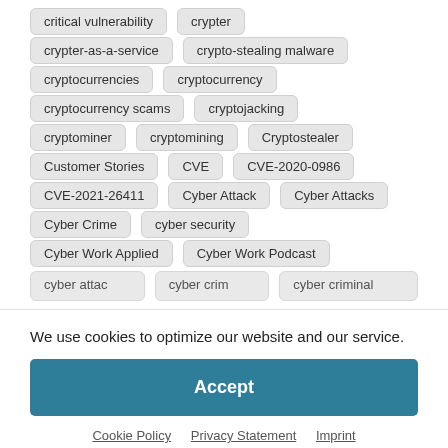critical vulnerability
crypter
crypter-as-a-service
crypto-stealing malware
cryptocurrencies
cryptocurrency
cryptocurrency scams
cryptojacking
cryptominer
cryptomining
Cryptostealer
Customer Stories
CVE
CVE-2020-0986
CVE-2021-26411
Cyber Attack
Cyber Attacks
Cyber Crime
cyber security
Cyber Work Applied
Cyber Work Podcast
We use cookies to optimize our website and our service.
Accept
Cookie Policy  Privacy Statement  Imprint